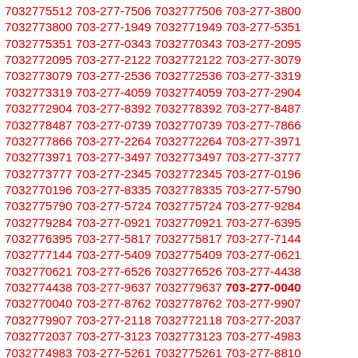7032775512 703-277-7506 7032777506 703-277-3800 7032773800 703-277-1949 7032771949 703-277-5351 7032775351 703-277-0343 7032770343 703-277-2095 7032772095 703-277-2122 7032772122 703-277-3079 7032773079 703-277-2536 7032772536 703-277-3319 7032773319 703-277-4059 7032774059 703-277-2904 7032772904 703-277-8392 7032778392 703-277-8487 7032778487 703-277-0739 7032770739 703-277-7866 7032777866 703-277-2264 7032772264 703-277-3971 7032773971 703-277-3497 7032773497 703-277-3777 7032773777 703-277-2345 7032772345 703-277-0196 7032770196 703-277-8335 7032778335 703-277-5790 7032775790 703-277-5724 7032775724 703-277-9284 7032779284 703-277-0921 7032770921 703-277-6395 7032776395 703-277-5817 7032775817 703-277-7144 7032777144 703-277-5409 7032775409 703-277-0621 7032770621 703-277-6526 7032776526 703-277-4438 7032774438 703-277-9637 7032779637 703-277-0040 7032770040 703-277-8762 7032778762 703-277-9907 7032779907 703-277-2118 7032772118 703-277-2037 7032772037 703-277-3123 7032773123 703-277-4983 7032774983 703-277-5261 7032775261 703-277-8810 7032778810 703-277-9878 7032779878 703-277-0892 7032770892 703-277-5595 7032775595 703-277-6834 7032776834 703-277-0416 7032770416 703-277-5797